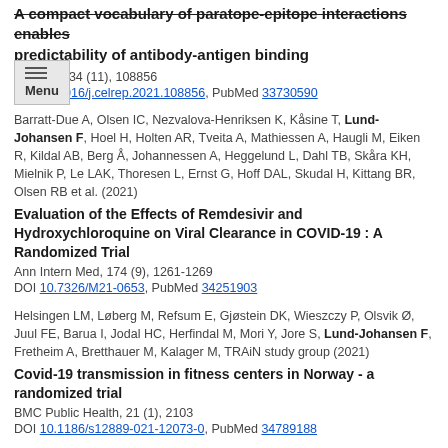A compact vocabulary of paratope-epitope interactions enables predictability of antibody-antigen binding
Cell Rep, 34 (11), 108856
DOI 10.1016/j.celrep.2021.108856, PubMed 33730590
Barratt-Due A, Olsen IC, Nezvalova-Henriksen K, Kåsine T, Lund-Johansen F, Hoel H, Holten AR, Tveita A, Mathiessen A, Haugli M, Eiken R, Kildal AB, Berg Å, Johannessen A, Heggelund L, Dahl TB, Skåra KH, Mielnik P, Le LAK, Thoresen L, Ernst G, Hoff DAL, Skudal H, Kittang BR, Olsen RB et al. (2021)
Evaluation of the Effects of Remdesivir and Hydroxychloroquine on Viral Clearance in COVID-19 : A Randomized Trial
Ann Intern Med, 174 (9), 1261-1269
DOI 10.7326/M21-0653, PubMed 34251903
Helsingen LM, Løberg M, Refsum E, Gjøstein DK, Wieszczy P, Olsvik Ø, Juul FE, Barua I, Jodal HC, Herfindal M, Mori Y, Jore S, Lund-Johansen F, Fretheim A, Bretthauer M, Kalager M, TRAiN study group (2021)
Covid-19 transmission in fitness centers in Norway - a randomized trial
BMC Public Health, 21 (1), 2103
DOI 10.1186/s12889-021-12073-0, PubMed 34789188
Jyssum I, Kared H, Tran TT, Tveter AT, Provan SA, Sexton J, Jørgensen KK, Jahnsen J, Kro GB, Warren DJ, Vaage EB, Kvien TK, Nissen-Meyer LH, Anderson AM, Grødeland G, Haavardsholm EA, Vaage JT, Mjaaland S, Svarsson SW, Lund